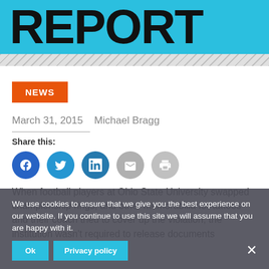REPORT
NEWS
March 31, 2015   Michael Bragg
Share this:
[Figure (other): Social share icons: Facebook, Twitter, LinkedIn, Email, Print]
When football players at Ohio State University swapped championship rings, and other memorabilia for tattoos and their coach tried to cover up the violation, the institution wasn't required to release documents
We use cookies to ensure that we give you the best experience on our website. If you continue to use this site we will assume that you are happy with it.